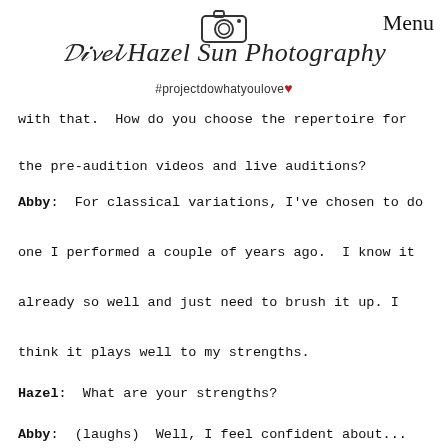[Figure (logo): Hazel Sun Photography logo with camera icon, script brand name, and hashtag #projectdowhatyoulove with heart]
with that.  How do you choose the repertoire for the pre-audition videos and live auditions?
Abby:  For classical variations, I've chosen to do one I performed a couple of years ago.  I know it already so well and just need to brush it up. I think it plays well to my strengths.
Hazel:  What are your strengths?
Abby:  (laughs)  Well, I feel confident about...